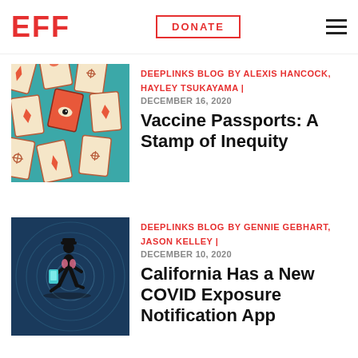EFF | DONATE | menu
[Figure (illustration): Colorful geometric pattern with diamond/card shapes featuring eyes and snowflake symbols on teal background]
DEEPLINKS BLOG BY ALEXIS HANCOCK, HAYLEY TSUKAYAMA | DECEMBER 16, 2020
Vaccine Passports: A Stamp of Inequity
[Figure (illustration): Dark silhouette of a person walking and holding a glowing phone, with circular wave patterns in the background]
DEEPLINKS BLOG BY GENNIE GEBHART, JASON KELLEY | DECEMBER 10, 2020
California Has a New COVID Exposure Notification App